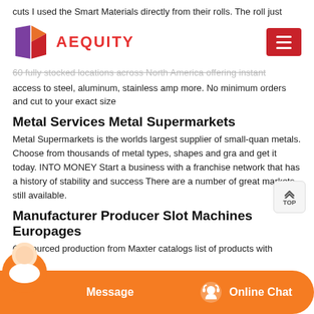cuts I used the Smart Materials directly from their rolls. The roll just
[Figure (logo): Aequity logo with geometric diamond shape in purple/orange/red and the text AEQUITY in red, with a hamburger menu button on the right]
60 fully stocked locations across North America offering instant access to steel, aluminum, stainless amp more. No minimum orders and cut to your exact size
Metal Services Metal Supermarkets
Metal Supermarkets is the worlds largest supplier of small-quan metals. Choose from thousands of metal types, shapes and gra and get it today. INTO MONEY Start a business with a franchise network that has a history of stability and success There are a number of great markets still available.
Manufacturer Producer Slot Machines Europages
Outsourced production from Maxter catalogs list of products with
[Figure (screenshot): Orange chat bar at bottom with Message button on left and Online Chat button with headset icon on right, and a customer service agent photo on the lower left]